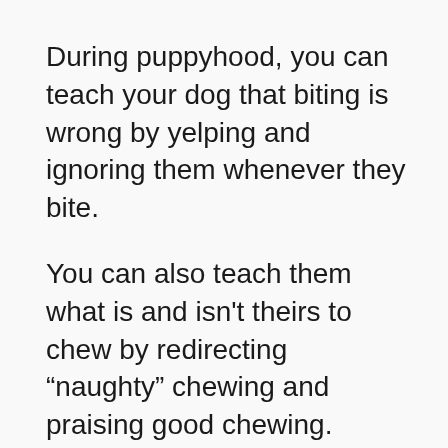During puppyhood, you can teach your dog that biting is wrong by yelping and ignoring them whenever they bite.
You can also teach them what is and isn't theirs to chew by redirecting “naughty” chewing and praising good chewing.